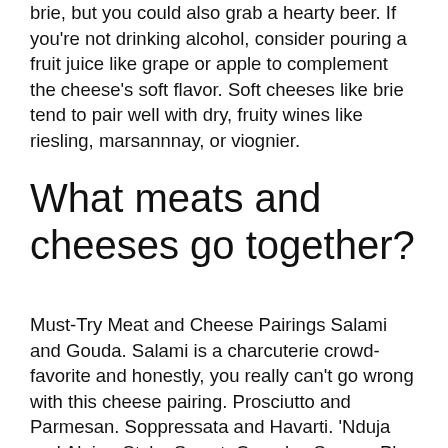brie, but you could also grab a hearty beer. If you're not drinking alcohol, consider pouring a fruit juice like grape or apple to complement the cheese's soft flavor. Soft cheeses like brie tend to pair well with dry, fruity wines like riesling, marsannnay, or viognier.
What meats and cheeses go together?
Must-Try Meat and Cheese Pairings Salami and Gouda. Salami is a charcuterie crowd-favorite and honestly, you really can't go wrong with this cheese pairing. Prosciutto and Parmesan. Soppressata and Havarti. 'Nduja and Alpine-Style. Sweet. Crunchy. Savory. Plan Out Portions.